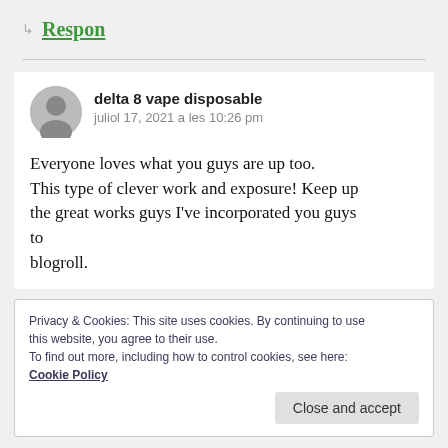↳ Respon
delta 8 vape disposable
juliol 17, 2021 a les 10:26 pm
Everyone loves what you guys are up too. This type of clever work and exposure! Keep up the great works guys I've incorporated you guys to
blogroll.
Privacy & Cookies: This site uses cookies. By continuing to use this website, you agree to their use.
To find out more, including how to control cookies, see here:
Cookie Policy
Close and accept